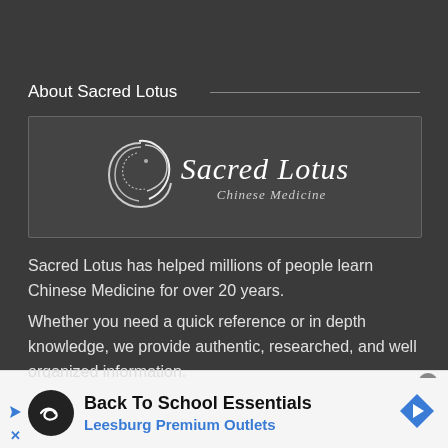About Sacred Lotus
[Figure (logo): Sacred Lotus Chinese Medicine logo — white swirl circle with 'Sacred Lotus' in italic serif and 'Chinese Medicine' subtitle below]
Sacred Lotus has helped millions of people learn Chinese Medicine for over 20 years.
Whether you need a quick reference or in depth knowledge, we provide authentic, researched, and well organized information.
[Figure (other): Advertisement banner: Back To School Essentials — Leesburg Premium Outlets, with circular logo and navigation arrow icon]